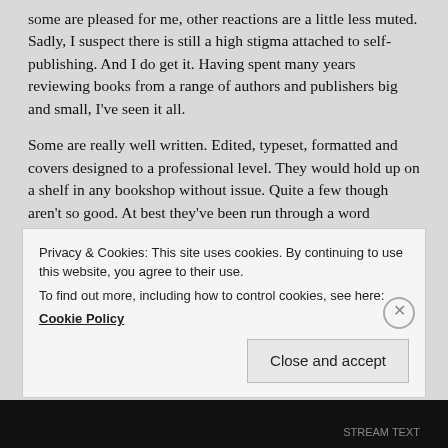some are pleased for me, other reactions are a little less muted. Sadly, I suspect there is still a high stigma attached to self-publishing. And I do get it. Having spent many years reviewing books from a range of authors and publishers big and small, I've seen it all.
Some are really well written. Edited, typeset, formatted and covers designed to a professional level. They would hold up on a shelf in any bookshop without issue. Quite a few though aren't so good. At best they've been run through a word processor's inbuilt spell checker, with limited success. Covers
Privacy & Cookies: This site uses cookies. By continuing to use this website, you agree to their use.
To find out more, including how to control cookies, see here: Cookie Policy
Close and accept